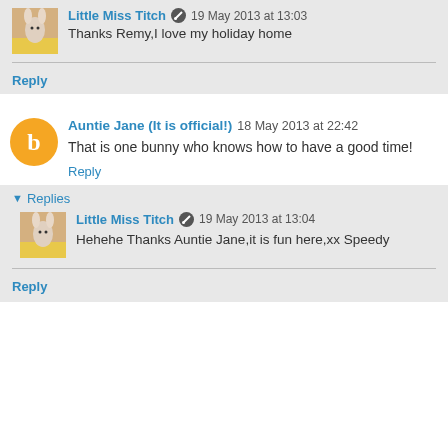Little Miss Titch · 19 May 2013 at 13:03
Thanks Remy,I love my holiday home
Reply
Auntie Jane (It is official!) 18 May 2013 at 22:42
That is one bunny who knows how to have a good time!
Reply
▾ Replies
Little Miss Titch · 19 May 2013 at 13:04
Hehehe Thanks Auntie Jane,it is fun here,xx Speedy
Reply